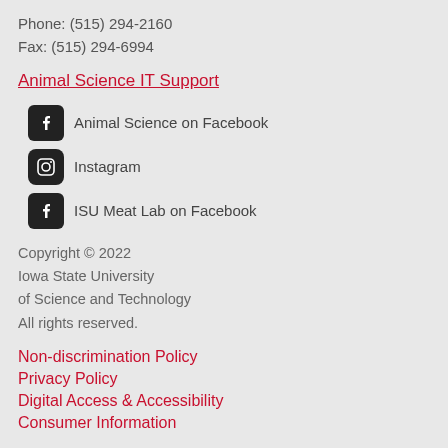Phone: (515) 294-2160
Fax: (515) 294-6994
Animal Science IT Support
Animal Science on Facebook
Instagram
ISU Meat Lab on Facebook
Copyright © 2022
Iowa State University
of Science and Technology
All rights reserved.
Non-discrimination Policy
Privacy Policy
Digital Access & Accessibility
Consumer Information